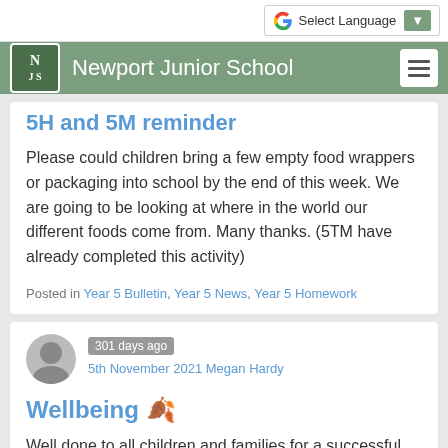Select Language
Newport Junior School
5H and 5M reminder
Please could children bring a few empty food wrappers or packaging into school by the end of this week. We are going to be looking at where in the world our different foods come from. Many thanks. (5TM have already completed this activity)
Posted in Year 5 Bulletin, Year 5 News, Year 5 Homework
301 days ago
5th November 2021 Megan Hardy
Wellbeing 🍂
Well done to all children and families for a successful and positive first week back of the half term. Make sure you take time to relax and rest over the weekend to